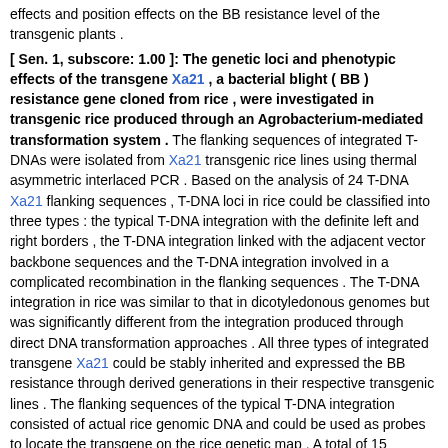effects and position effects on the BB resistance level of the transgenic plants . [ Sen. 1, subscore: 1.00 ]: The genetic loci and phenotypic effects of the transgene Xa21 , a bacterial blight ( BB ) resistance gene cloned from rice , were investigated in transgenic rice produced through an Agrobacterium-mediated transformation system . The flanking sequences of integrated T-DNAs were isolated from Xa21 transgenic rice lines using thermal asymmetric interlaced PCR . Based on the analysis of 24 T-DNA Xa21 flanking sequences , T-DNA loci in rice could be classified into three types : the typical T-DNA integration with the definite left and right borders , the T-DNA integration linked with the adjacent vector backbone sequences and the T-DNA integration involved in a complicated recombination in the flanking sequences . The T-DNA integration in rice was similar to that in dicotyledonous genomes but was significantly different from the integration produced through direct DNA transformation approaches . All three types of integrated transgene Xa21 could be stably inherited and expressed the BB resistance through derived generations in their respective transgenic lines . The flanking sequences of the typical T-DNA integration consisted of actual rice genomic DNA and could be used as probes to locate the transgene on the rice genetic map . A total of 15 different rice T-DNA flanking sequences were identified . They displayed restriction fragment length polymorphisms ( RFLPs ) between two rice varieties , ZYQ8 and JX17 , and were mapped on rice chromosomes 1 , 3 , 4 , 5 , 7 , 9 , 10 , 11 and 12 , respectively , by using a double haploid population derived from a cross between ZYQ8 and JX17 . The blast search and homology comparison of the rice T-DNA flanking sequences with the rice chromosome-anchored sequence database confirmed the RFLP mapping results . On the basis of genetic mapping of the T-DNA Xa21 loci , the BB resistance effects of the transgene Xa21 at different